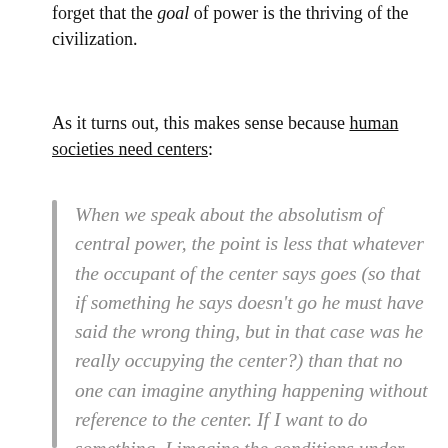forget that the goal of power is the thriving of the civilization.
As it turns out, this makes sense because human societies need centers:
When we speak about the absolutism of central power, the point is less that whatever the occupant of the center says goes (so that if something he says doesn't go he must have said the wrong thing, but in that case was he really occupying the center?) than that no one can imagine anything happening without reference to the center. If I want to do something, I imagine the conditions under which the